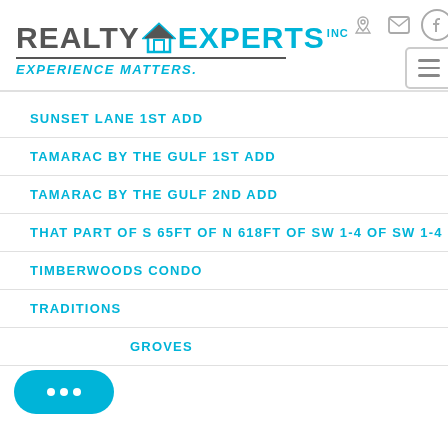[Figure (logo): Realty Experts Inc logo with house icon and tagline EXPERIENCE MATTERS.]
SUNSET LANE 1ST ADD
TAMARAC BY THE GULF 1ST ADD
TAMARAC BY THE GULF 2ND ADD
THAT PART OF S 65FT OF N 618FT OF SW 1-4 OF SW 1-4
TIMBERWOODS CONDO
TRADITIONS
...GROVES